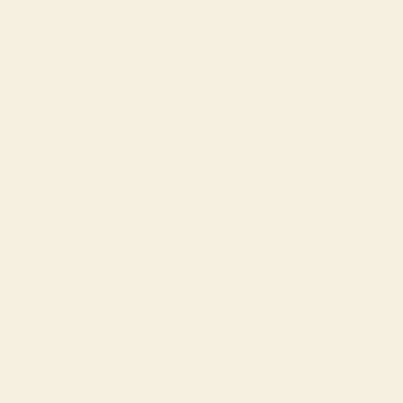And hoarie head of Archimago old,
His hastie hand he doth amased stay,
And halfe ashamed, wondred at the fact,
For the old man well knew it was his act.
In charmes and magicke to haue most might,
Ne euer wont in field, ne in round list
And said, Why Archimago, has thou,
What doe I see? what hard mishap is this,
That hath thee hither brought through so long way,
Or thine the fault, or mine the error is,
In stead of foe to wound my friend so nie?
He answered nought, but in a traunce still lay,
And on those guilefull dazed eyes of his,
The cloud of death did sit. Which doen away,
He left him lying so, and thence did flie;
But to the virgin comes, who dead more dearely
Amased stands, her selfe so fairely bright,
By him, who has the guerdon of her dearly,
For so misfeigning her that Ladie bright,
Yet is she now in more amazement plunged,
Left in the hand of that same Pagan bold,
From whom her bootless well he had expunged,
Who by her cleanly garment catching hold,
Her from her Palfrey pluckt, her visage told